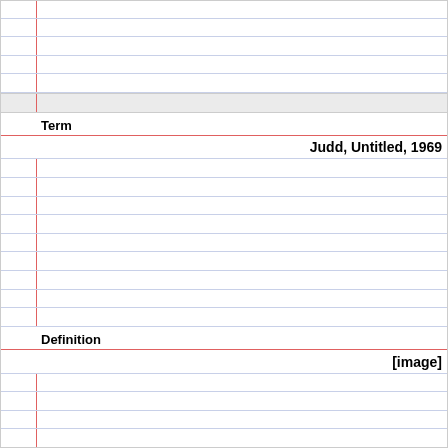| Term |  |
| --- | --- |
|  | Judd, Untitled, 1969 |
| Definition |  |
|  | [image] |